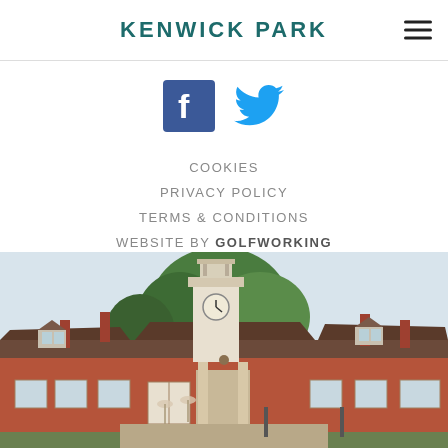KENWICK PARK
[Figure (infographic): Social media icons: Facebook (blue square with white F) and Twitter (light blue bird)]
COOKIES
PRIVACY POLICY
TERMS & CONDITIONS
WEBSITE BY GOLFWORKING
[Figure (photo): Photograph of Kenwick Park building: a large red-brick country house/hotel with a clock tower, dormer windows, and surrounding greenery]